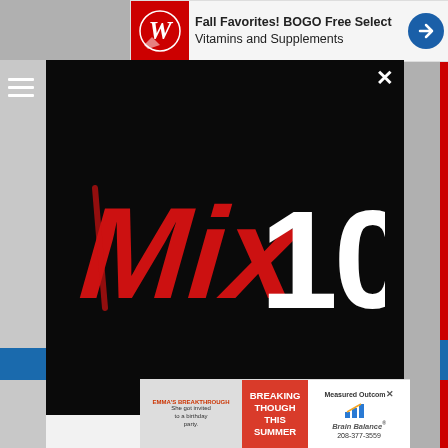[Figure (screenshot): Screenshot of a mobile browser showing the Mix 106 radio station app download modal overlay. The modal has a black top section with the Mix 106 logo in red and white, a white bottom section with a download prompt and red CTA button, and an Amazon Alexa listening option. Behind the modal is a blurred webpage. A Walgreens ad banner appears at the top and a Brain Balance ad appears at the bottom.]
DOWNLOAD THE MIX 106 MOBILE APP
GET OUR FREE MOBILE APP
Also listen on: amazon alexa